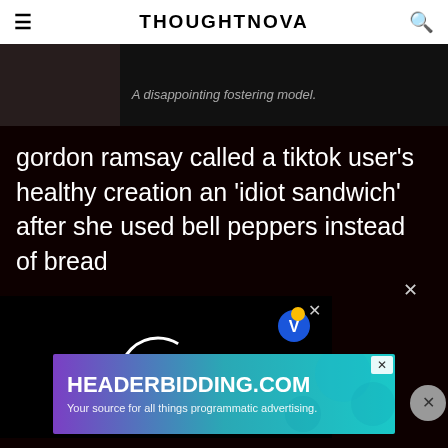THOUGHTNOVA
[Figure (photo): Dark hero image with partially visible text overlay at bottom]
gordon ramsay called a tiktok user's healthy creation an 'idiot sandwich' after she used bell peppers instead of bread
[Figure (screenshot): Dark popup/modal overlay with loading spinner circle and V icon, with X close button]
[Figure (other): Advertisement banner for HEADERBIDDING.COM - Your source for all things programmatic advertising.]